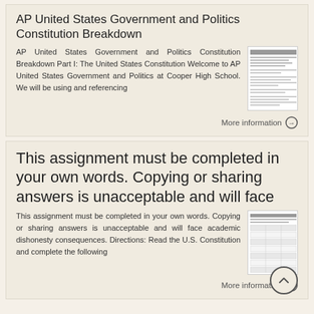AP United States Government and Politics Constitution Breakdown
AP United States Government and Politics Constitution Breakdown Part I: The United States Constitution Welcome to AP United States Government and Politics at Cooper High School. We will be using and referencing
More information
This assignment must be completed in your own words. Copying or sharing answers is unacceptable and will face
This assignment must be completed in your own words. Copying or sharing answers is unacceptable and will face academic dishonesty consequences. Directions: Read the U.S. Constitution and complete the following
More information